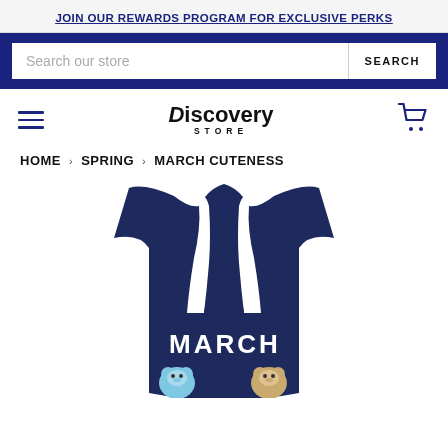JOIN OUR REWARDS PROGRAM FOR EXCLUSIVE PERKS
Search our store
Discovery STORE
HOME › SPRING › MARCH CUTENESS
[Figure (photo): Navy blue racerback tank top with 'MARCH' text and cartoon bear illustrations on the front]